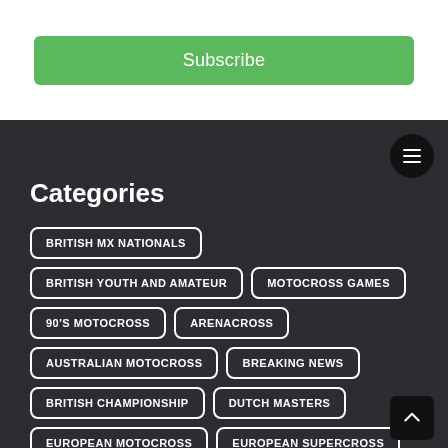Subscribe
Categories
BRITISH MX NATIONALS
BRITISH YOUTH AND AMATEUR
MOTOCROSS GAMES
90'S MOTOCROSS
ARENACROSS
AUSTRALIAN MOTOCROSS
BREAKING NEWS
BRITISH CHAMPIONSHIP
DUTCH MASTERS
EUROPEAN MOTOCROSS
EUROPEAN SUPERCROSS
FANTASY MX MANAGER